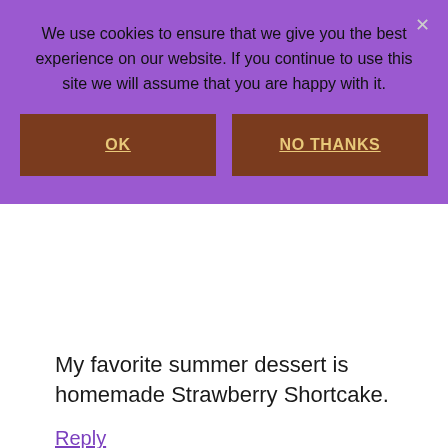We use cookies to ensure that we give you the best experience on our website. If you continue to use this site we will assume that you are happy with it.
OK
NO THANKS
My favorite summer dessert is homemade Strawberry Shortcake.
Reply
Vickie says
July 27, 2017 at 4:36 am